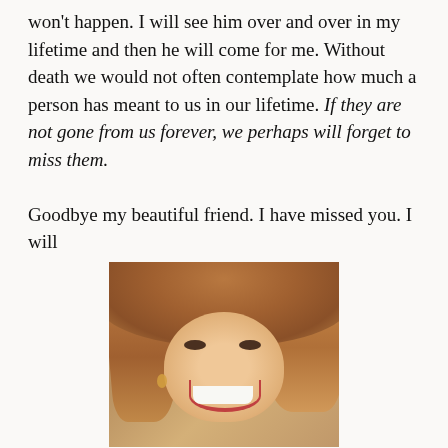won't happen. I will see him over and over in my lifetime and then he will come for me. Without death we would not often contemplate how much a person has meant to us in our lifetime. If they are not gone from us forever, we perhaps will forget to miss them.

Goodbye my beautiful friend. I have missed you. I will
[Figure (photo): Portrait photo of a smiling woman with auburn/blonde layered hair, wearing earrings, photographed indoors with warm background lighting.]